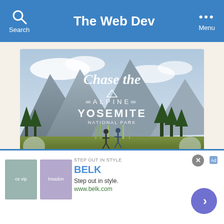The Web Dev
[Figure (screenshot): A screenshot of a website showing a travel advertisement slideshow for Yosemite National Park with text 'Chase the Alpine - YOSEMITE NATIONAL PARK' overlaid on a mountain landscape photo with two hikers.]
DISCOVER AMAZING TRAVEL
SIDESTAGE.COM
[Figure (screenshot): Bottom advertisement banner for BELK with tagline 'Step out in style.' and URL 'www.belk.com', showing two fashion images on the left and a circular call-to-action button on the right.]